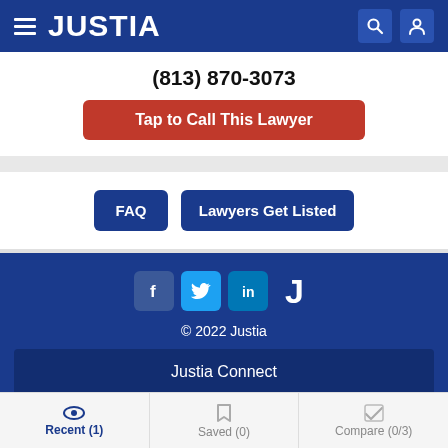JUSTIA
(813) 870-3073
Tap to Call This Lawyer
FAQ
Lawyers Get Listed
[Figure (logo): Social media icons: Facebook, Twitter, LinkedIn, Justia J logo]
© 2022 Justia
Justia Connect
Recent (1) | Saved (0) | Compare (0/3)